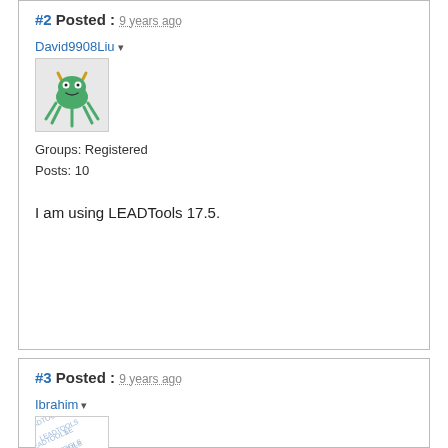#2 Posted : 9 years ago
David9908Liu ▾
[Figure (illustration): User avatar showing a cartoon green creature with horns and tentacles on a light background]
Groups: Registered
Posts: 10
I am using LEADTools 17.5.
#3 Posted : 9 years ago
Ibrahim ▾
[Figure (illustration): User avatar showing a watermark/logo with LEADTOOLS text repeated in blue on white background]